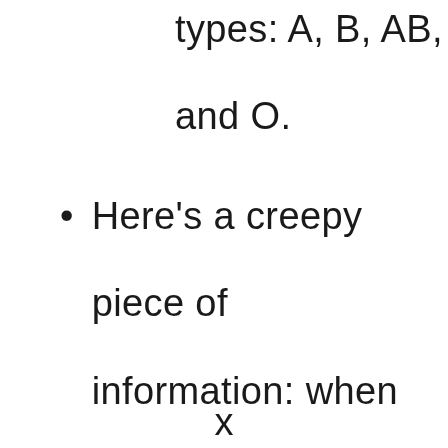types: A, B, AB, and O.
Here's a creepy piece of information: when
x